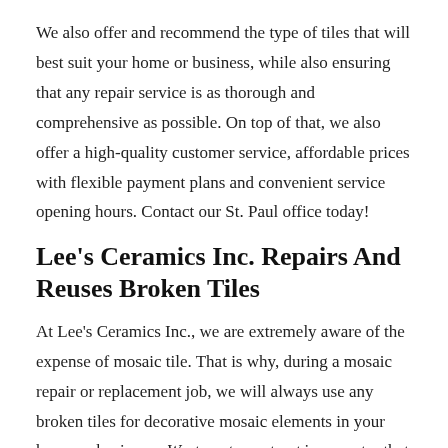We also offer and recommend the type of tiles that will best suit your home or business, while also ensuring that any repair service is as thorough and comprehensive as possible. On top of that, we also offer a high-quality customer service, affordable prices with flexible payment plans and convenient service opening hours. Contact our St. Paul office today!
Lee's Ceramics Inc. Repairs And Reuses Broken Tiles
At Lee's Ceramics Inc., we are extremely aware of the expense of mosaic tile. That is why, during a mosaic repair or replacement job, we will always use any broken tiles for decorative mosaic elements in your home or business. Waste not, want not is a mantra that we strictly adhere to and sit one of tile reverse is that broken down and are here ...